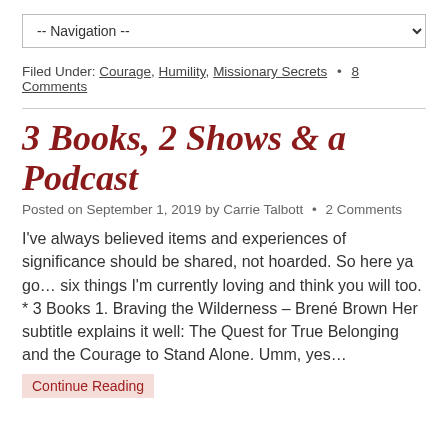-- Navigation --
Filed Under: Courage, Humility, Missionary Secrets • 8 Comments
3 Books, 2 Shows & a Podcast
Posted on September 1, 2019 by Carrie Talbott • 2 Comments
I've always believed items and experiences of significance should be shared, not hoarded. So here ya go… six things I'm currently loving and think you will too. * 3 Books 1. Braving the Wilderness – Brené Brown Her subtitle explains it well: The Quest for True Belonging and the Courage to Stand Alone. Umm, yes…
Continue Reading